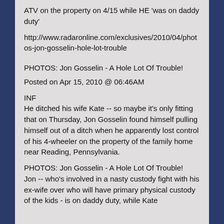ATV on the property on 4/15 while HE 'was on daddy duty'
http://www.radaronline.com/exclusives/2010/04/photos-jon-gosselin-hole-lot-trouble
PHOTOS: Jon Gosselin - A Hole Lot Of Trouble!
Posted on Apr 15, 2010 @ 06:46AM
INF
He ditched his wife Kate -- so maybe it's only fitting that on Thursday, Jon Gosselin found himself pulling himself out of a ditch when he apparently lost control of his 4-wheeler on the property of the family home near Reading, Pennsylvania.
PHOTOS: Jon Gosselin - A Hole Lot Of Trouble!
Jon -- who's involved in a nasty custody fight with his ex-wife over who will have primary physical custody of the kids - is on daddy duty, while Kate